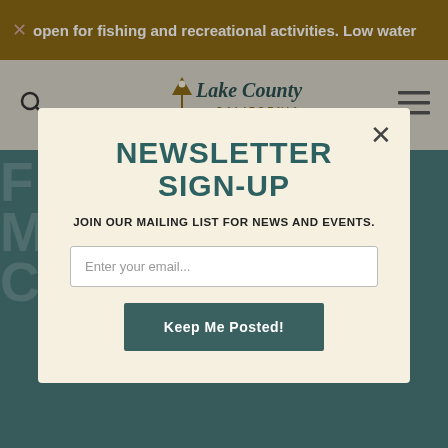× open for fishing and recreational activities. Low water...
[Figure (logo): Lake County California logo with mountain/location pin icon]
NEWSLETTER SIGN-UP
JOIN OUR MAILING LIST FOR NEWS AND EVENTS.
Enter your email...
Keep Me Posted!
[Figure (photo): Outdoor event scene with red balloons, tents, crowd, and a large globe sculpture]